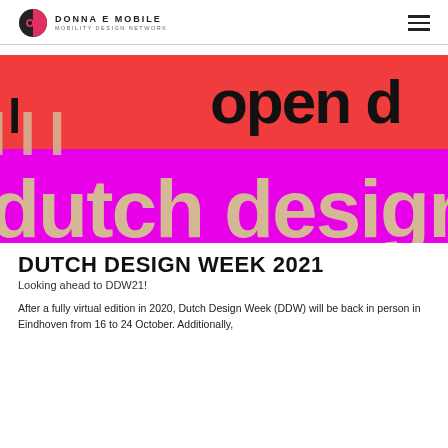DONNA E MOBILE MOBILITY DESIGN NETWORK
[Figure (illustration): Dutch Design Week 2021 promotional banner with bold typography on coral red and magenta backgrounds. Text reads 'dutch design week' and 'open d' in large black and tan/beige letters.]
DUTCH DESIGN WEEK 2021
Looking ahead to DDW21!
After a fully virtual edition in 2020, Dutch Design Week (DDW) will be back in person in Eindhoven from 16 to 24 October. Additionally,